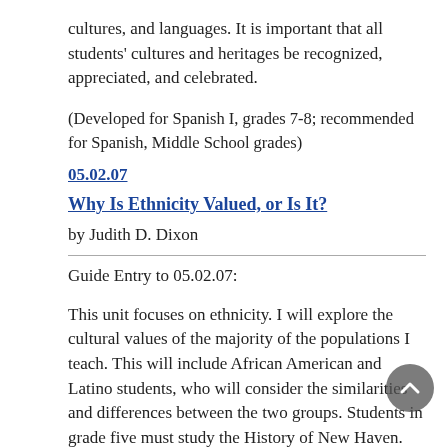cultures, and languages. It is important that all students' cultures and heritages be recognized, appreciated, and celebrated.
(Developed for Spanish I, grades 7-8; recommended for Spanish, Middle School grades)
05.02.07
Why Is Ethnicity Valued, or Is It?
by Judith D. Dixon
Guide Entry to 05.02.07:
This unit focuses on ethnicity. I will explore the cultural values of the majority of the populations I teach. This will include African American and Latino students, who will consider the similarities and differences between the two groups. Students in grade five must study the History of New Haven. They will learn how immigration